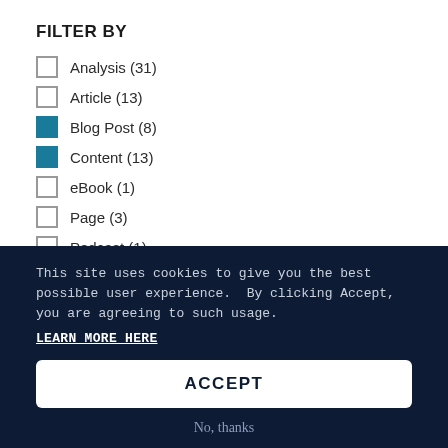FILTER BY
Analysis (31)
Article (13)
Blog Post (8)
Content (13)
eBook (1)
Page (3)
Podcast (1)
Press Release (87)
Videos (15)
This site uses cookies to give you the best possible user experience.  By clicking Accept, you are agreeing to such usage.
LEARN MORE HERE
ACCEPT
No, thanks